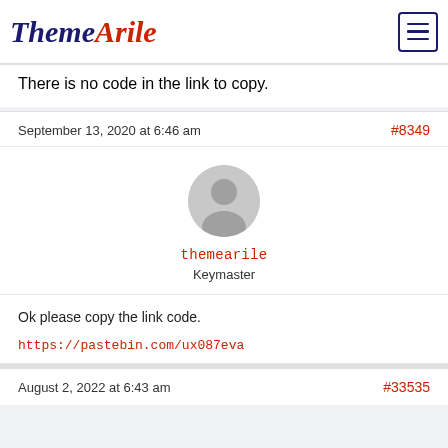ThemeArile
There is no code in the link to copy.
September 13, 2020 at 6:46 am  #8349
[Figure (illustration): Default user avatar - grey circle with person silhouette]
themearile
Keymaster
Ok please copy the link code.

https://pastebin.com/ux087eva
August 2, 2022 at 6:43 am  #33535